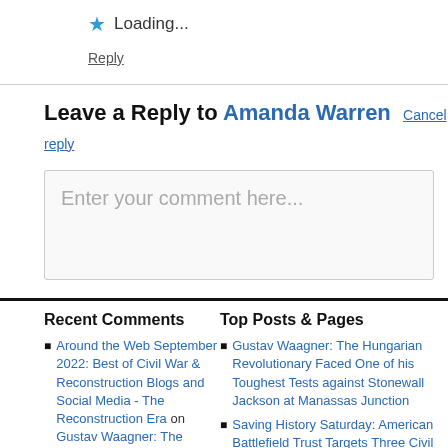★ Loading...
Reply
Leave a Reply to Amanda Warren  Cancel reply
Enter your comment here...
Recent Comments
Around the Web September 2022: Best of Civil War & Reconstruction Blogs and Social Media - The Reconstruction Era on Gustav Waagner: The Hungarian Revolutionary Faced One of his Toughest Tests against Stonewall Jackson at
Top Posts & Pages
Gustav Waagner: The Hungarian Revolutionary Faced One of his Toughest Tests against Stonewall Jackson at Manassas Junction
Saving History Saturday: American Battlefield Trust Targets Three Civil